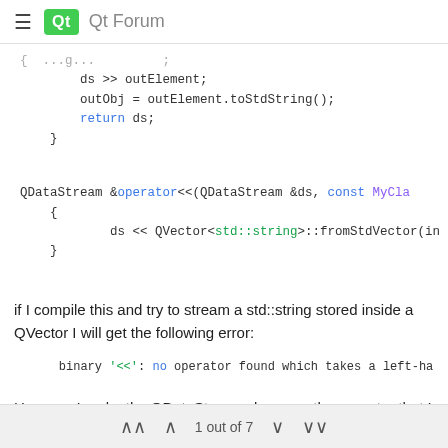Qt Forum
ds >> outElement;
    outObj = outElement.toStdString();
    return ds;
}
QDataStream &operator<<(QDataStream &ds, const MyCla
{
        ds << QVector<std::string>::fromStdVector(in
}
if I compile this and try to stream a std::string stored inside a QVector I will get the following error:
binary '<<': no operator found which takes a left-ha
How can I make the QDataStream class see the operator that I overloaded for std::string?
1 out of 7